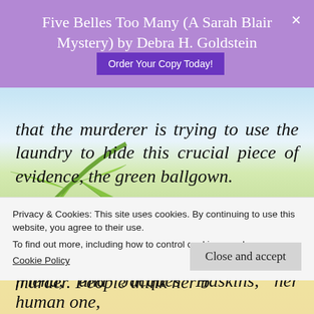Five Belles Too Many (A Sarah Blair Mystery) by Debra H. Goldstein
that the murderer is trying to use the laundry to hide this crucial piece of evidence, the green ballgown.
Many factors conspire against Dai, but she remains undeterred. The police don't even know about the murder. People think her blindness stops her from doing things. It's
Privacy & Cookies: This site uses cookies. By continuing to use this website, you agree to their use. To find out more, including how to control cookies, see here: Cookie Policy
friend, and Jacques Haskins, her human one,